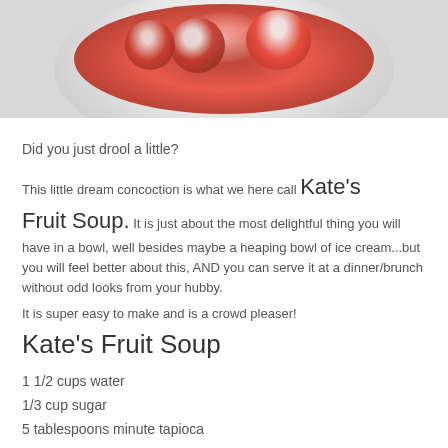[Figure (photo): Photo of a white bowl containing red fruit slices (blood oranges or similar), shot from above on a light background]
Did you just drool a little?
This little dream concoction is what we here call Kate's Fruit Soup. It is just about the most delightful thing you will have in a bowl, well besides maybe a heaping bowl of ice cream...but you will feel better about this, AND you can serve it at a dinner/brunch without odd looks from your hubby.
It is super easy to make and is a crowd pleaser!
Kate's Fruit Soup
1 1/2 cups water
1/3 cup sugar
5 tablespoons minute tapioca